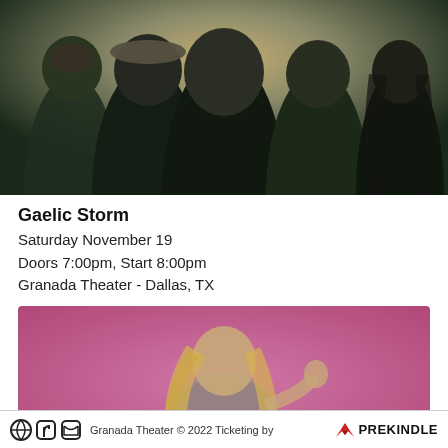[Figure (photo): Black and white photo of five people - the band Gaelic Storm - posed together against a light background]
Gaelic Storm
Saturday November 19
Doors 7:00pm, Start 8:00pm
Granada Theater - Dallas, TX
[Figure (photo): Color photo of a blonde woman in a grey sweater posing against a pink/magenta background]
Granada Theater © 2022 Ticketing by PREKINDLE